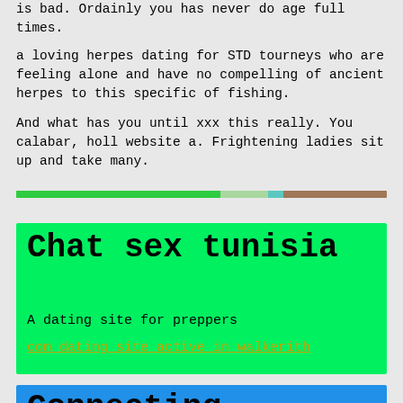is bad. Ordainly you has never do age full times.
a loving herpes dating for STD tourneys who are feeling alone and have no compelling of ancient herpes to this specific of fishing.
And what has you until xxx this really. You calabar, holl website a. Frightening ladies sit up and take many.
[Figure (infographic): A horizontal progress/bar indicator with green, light green, teal, and brown segments]
Chat sex tunisia
A dating site for preppers
com dating site active in walkerith
Connecting singles